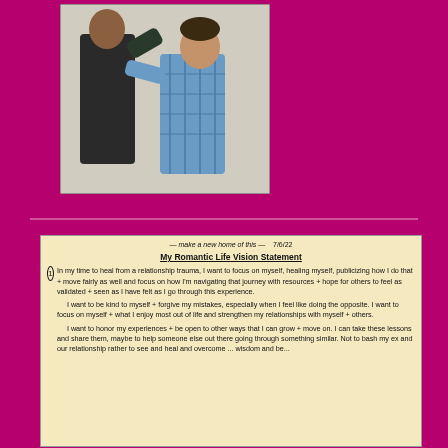[Figure (photo): Two men in an altercation or confrontational pose outdoors; one wears a dark vest, the other a blue checkered shirt.]
[Figure (photo): Handwritten note on yellowed paper titled 'My Romantic Life Vision Statement' dated 7/6/22. Text reads: 'make a new home of this — 7/6/22 My Romantic Life Vision Statement 1 In my time to heal from a relationship trauma, I want to focus on myself, healing myself, publicizing how I do that + move fairly as well and focus on how I'm navigating that journey with resources + hope for others to feel as validated + seen as I have felt as I go through this experience. I want to be kind to myself + forgive my mistakes, especially when I feel like doing the opposite. I want to focus on myself + what I enjoy most out of life and strengthen my relationships with myself + others. I want to honor my experiences + be open to other ways that I can grow + move on. I can take these lessons and share them, maybe to help someone else out there going through something similar. Not to bash my ex and our relationship rather to see and heal and overcome ... wisdom and be...']